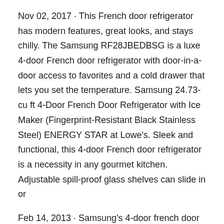Nov 02, 2017 · This French door refrigerator has modern features, great looks, and stays chilly. The Samsung RF28JBEDBSG is a luxe 4-door French door refrigerator with door-in-a-door access to favorites and a cold drawer that lets you set the temperature. Samsung 24.73-cu ft 4-Door French Door Refrigerator with Ice Maker (Fingerprint-Resistant Black Stainless Steel) ENERGY STAR at Lowe's. Sleek and functional, this 4-door French door refrigerator is a necessity in any gourmet kitchen. Adjustable spill-proof glass shelves can slide in or
Feb 14, 2013 · Samsung's 4-door french door refrigerator has earned rave reviews for it's reliable performance and smart design. This 36"